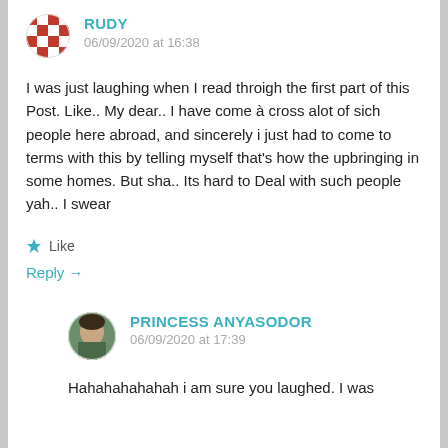[Figure (illustration): Rudy avatar: red and white checkerboard circular icon]
RUDY
06/09/2020 at 16:38
I was just laughing when I read throigh the first part of this Post. Like.. My dear.. I have come à cross alot of sich people here abroad, and sincerely i just had to come to terms with this by telling myself that's how the upbringing in some homes. But sha.. Its hard to Deal with such people yah.. I swear
★ Like
Reply →
[Figure (photo): Princess Anyasodor avatar: circular photo of a person outdoors]
PRINCESS ANYASODOR
06/09/2020 at 17:39
Hahahahahahah i am sure you laughed. I was